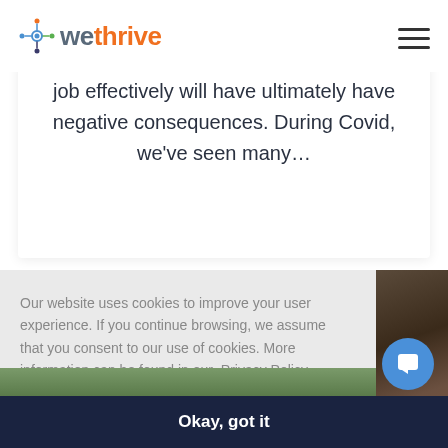[Figure (logo): WeThrive logo with colorful circular icon and orange/grey wordmark]
job effectively will have ultimately have negative consequences. During Covid, we've seen many…
Our website uses cookies to improve your user experience. If you continue browsing, we assume that you consent to our use of cookies. More information can be found in our  Privacy Policy
[Figure (photo): Partial photo visible on right side of cookie banner, dark tones]
Okay, got it